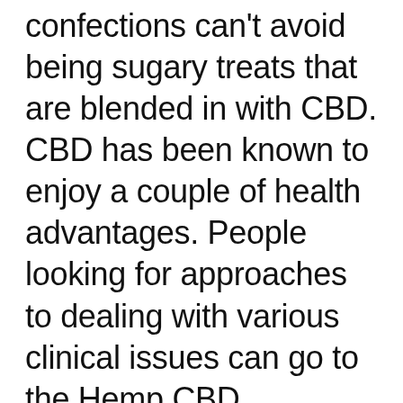confections can't avoid being sugary treats that are blended in with CBD. CBD has been known to enjoy a couple of health advantages. People looking for approaches to dealing with various clinical issues can go to the Hemp CBD Gummies. Instead of using oils and various kinds of CBD that can have an unconventional taste, you